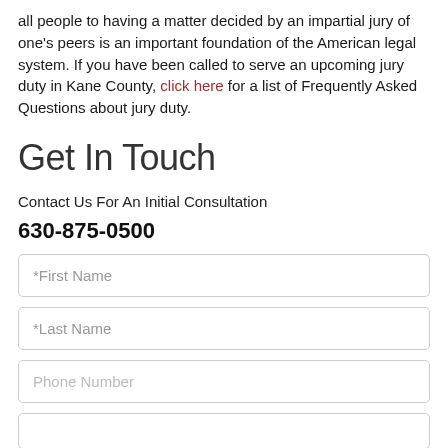all people to having a matter decided by an impartial jury of one's peers is an important foundation of the American legal system. If you have been called to serve an upcoming jury duty in Kane County, click here for a list of Frequently Asked Questions about jury duty.
Get In Touch
Contact Us For An Initial Consultation
630-875-0500
*First Name
*Last Name
Phone Number